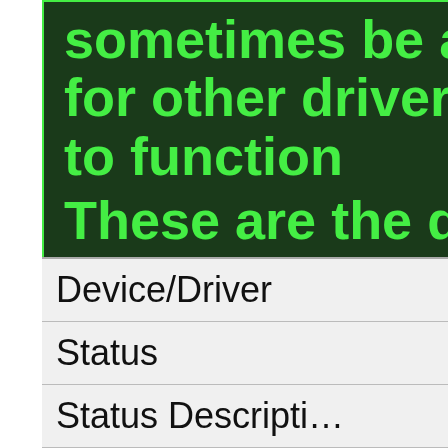sometimes be at fault for other drivers ceasing to function
These are the driver scans of 2 of our recent wiki members*
*Scans were performed on computers suffering from Lg R580 Uapc2wa3 disfunctions.
Scan performed on 4/24/2019, Computer: Packard Bell Imedia S3270 - Windows 7 64 bit
Outdated or Corrupted drivers: 11/24
| Device/Driver | Status | Status Description |
| --- | --- | --- |